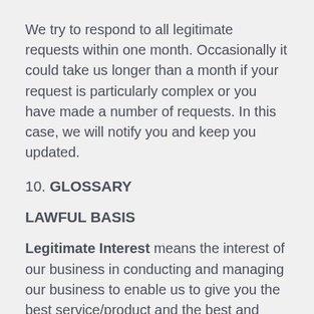We try to respond to all legitimate requests within one month. Occasionally it could take us longer than a month if your request is particularly complex or you have made a number of requests. In this case, we will notify you and keep you updated.
10. GLOSSARY
LAWFUL BASIS
Legitimate Interest means the interest of our business in conducting and managing our business to enable us to give you the best service/product and the best and most secure experience. We make sure we consider and balance any potential impact on you (both positive and negative) and your rights before we process your personal data for our legitimate interests. We do not use your